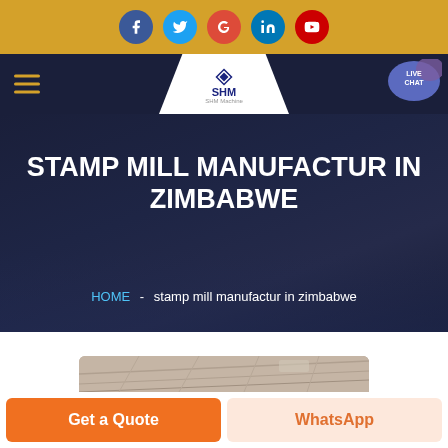Social media icons: Facebook, Twitter, Google+, LinkedIn, YouTube
[Figure (screenshot): Navigation bar with hamburger menu, SHM logo, and live chat button]
STAMP MILL MANUFACTUR IN ZIMBABWE
HOME  -  stamp mill manufactur in zimbabwe
[Figure (photo): Partial view of industrial facility interior]
Get a Quote
WhatsApp